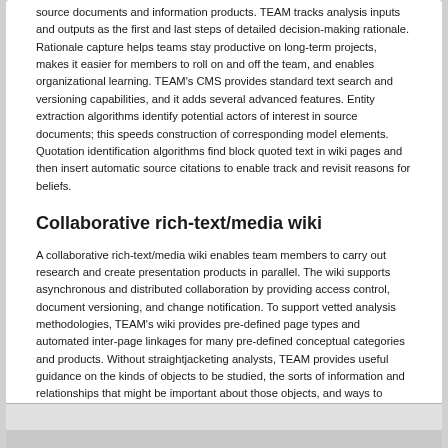source documents and information products. TEAM tracks analysis inputs and outputs as the first and last steps of detailed decision-making rationale. Rationale capture helps teams stay productive on long-term projects, makes it easier for members to roll on and off the team, and enables organizational learning. TEAM's CMS provides standard text search and versioning capabilities, and it adds several advanced features. Entity extraction algorithms identify potential actors of interest in source documents; this speeds construction of corresponding model elements. Quotation identification algorithms find block quoted text in wiki pages and then insert automatic source citations to enable track and revisit reasons for beliefs.
Collaborative rich-text/media wiki
A collaborative rich-text/media wiki enables team members to carry out research and create presentation products in parallel. The wiki supports asynchronous and distributed collaboration by providing access control, document versioning, and change notification. To support vetted analysis methodologies, TEAM's wiki provides pre-defined page types and automated inter-page linkages for many pre-defined conceptual categories and products. Without straightjacketing analysts, TEAM provides useful guidance on the kinds of objects to be studied, the sorts of information and relationships that might be important about those objects, and ways to organize that information using web pages, sections, and hyperlinks.